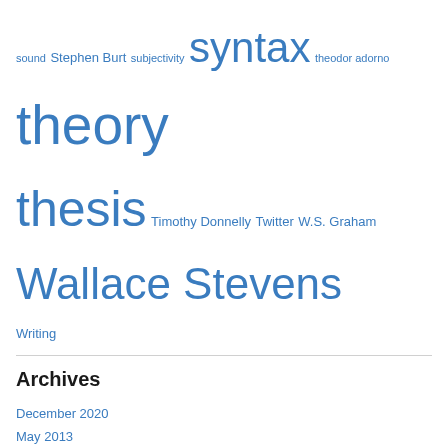sound Stephen Burt subjectivity syntax theodor adorno theory thesis Timothy Donnelly Twitter W.S. Graham Wallace Stevens Writing
Archives
December 2020
May 2013
April 2013
March 2013
February 2013
January 2013
December 2012
November 2012
October 2012
September 2012
July 2012
June 2012